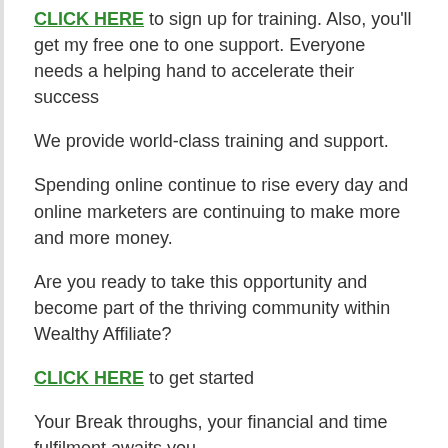CLICK HERE to sign up for training. Also, you'll get my free one to one support. Everyone needs a helping hand to accelerate their success
We provide world-class training and support.
Spending online continue to rise every day and online marketers are continuing to make more and more money.
Are you ready to take this opportunity and become part of the thriving community within Wealthy Affiliate?
CLICK HERE to get started
Your Break throughs, your financial and time fulfilment awaits you.
Have you been thinking of how you can be a real business owner? No worries, we provide with all the training